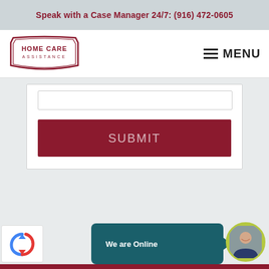Speak with a Case Manager 24/7: (916) 472-0605
[Figure (logo): Home Care Assistance logo — shield/badge shape with dark red border, white fill, 'HOME CARE' in bold dark red and 'ASSISTANCE' in small caps]
MENU
[Figure (screenshot): White input field (text box) in a form card on a light gray background]
[Figure (other): Dark red SUBMIT button]
[Figure (other): reCAPTCHA logo (blue recycling arrow icon) in a white box]
We are Online
REQUEST A FREE IN-HOME CONSULTATION